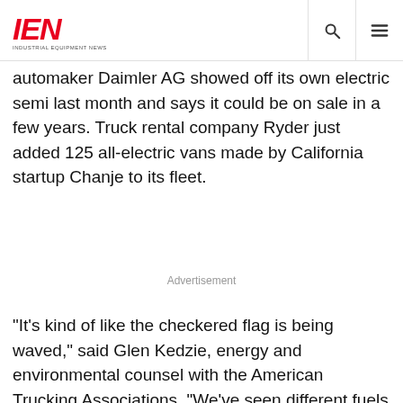IEN INDUSTRIAL EQUIPMENT NEWS
automaker Daimler AG showed off its own electric semi last month and says it could be on sale in a few years. Truck rental company Ryder just added 125 all-electric vans made by California startup Chanje to its fleet.
Advertisement
"It's kind of like the checkered flag is being waved," said Glen Kedzie, energy and environmental counsel with the American Trucking Associations. "We've seen different fuels come and go, and electric has gotten to the front of the line."